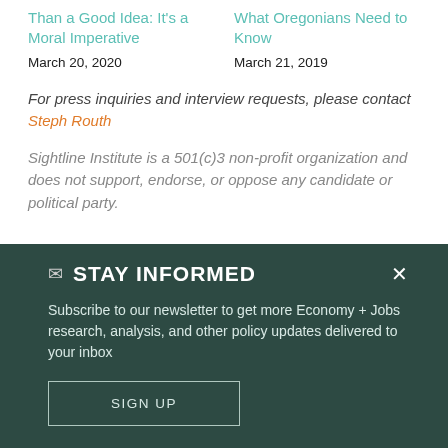Than a Good Idea: It's a Moral Imperative
March 20, 2020
What Oregonians Need to Know
March 21, 2019
For press inquiries and interview requests, please contact Steph Routh
Sightline Institute is a 501(c)3 non-profit organization and does not support, endorse, or oppose any candidate or political party.
STAY INFORMED
Subscribe to our newsletter to get more Economy + Jobs research, analysis, and other policy updates delivered to your inbox
SIGN UP